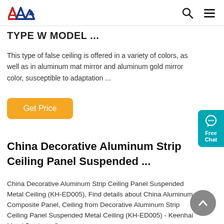AAN logo with search and menu icons
TYPE W MODEL ...
This type of false ceiling is offered in a variety of colors, as well as in aluminum mat mirror and aluminum gold mirror color, susceptible to adaptation ...
Get Price
China Decorative Aluminum Strip Ceiling Panel Suspended ...
China Decorative Aluminum Strip Ceiling Panel Suspended Metal Ceiling (KH-ED005), Find details about China Aluminum Composite Panel, Ceiling from Decorative Aluminum Strip Ceiling Panel Suspended Metal Ceiling (KH-ED005) - Keenhai Metal Products Co., ...